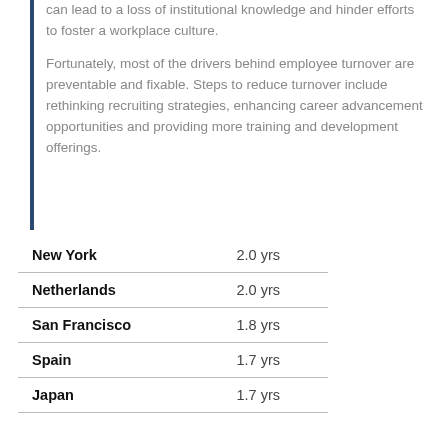can lead to a loss of institutional knowledge and hinder efforts to foster a workplace culture.
Fortunately, most of the drivers behind employee turnover are preventable and fixable. Steps to reduce turnover include rethinking recruiting strategies, enhancing career advancement opportunities and providing more training and development offerings.
| Average Tenure in Fintech |  |
| --- | --- |
| New York | 2.0 yrs |
| Netherlands | 2.0 yrs |
| San Francisco | 1.8 yrs |
| Spain | 1.7 yrs |
| Japan | 1.7 yrs |